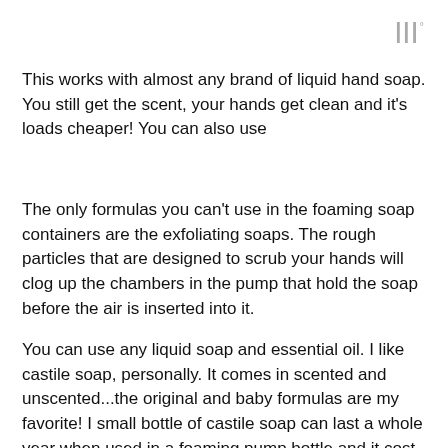|||°
This works with almost any brand of liquid hand soap. You still get the scent, your hands get clean and it's loads cheaper! You can also use
The only formulas you can't use in the foaming soap containers are the exfoliating soaps. The rough particles that are designed to scrub your hands will clog up the chambers in the pump that hold the soap before the air is inserted into it.
You can use any liquid soap and essential oil. I like castile soap, personally. It comes in scented and unscented...the original and baby formulas are my favorite! I small bottle of castile soap can last a whole year when used in a foaming pump bottle and it cost about $5. That's a huge savings!